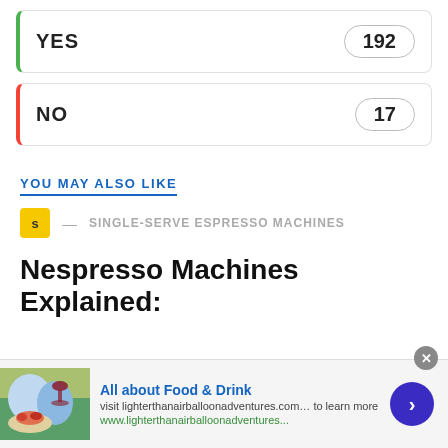YES — 192
NO — 17
YOU MAY ALSO LIKE
S — SINGLE-SERVE ESPRESSO MACHINES
Nespresso Machines Explained:
All about Food & Drink
visit lighterthanairballoonadventures.com... to learn more
www.lighterthanairballoonadventures...